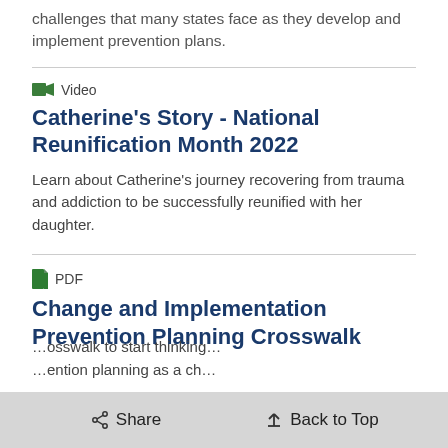challenges that many states face as they develop and implement prevention plans.
Video
Catherine's Story - National Reunification Month 2022
Learn about Catherine’s journey recovering from trauma and addiction to be successfully reunified with her daughter.
PDF
Change and Implementation Prevention Planning Crosswalk
osswalk to start thinking… ention planning as a ch…
Share   Back to Top